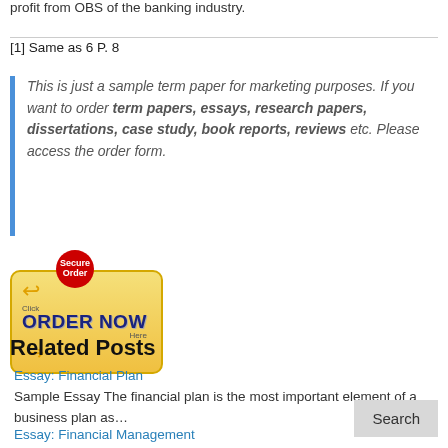profit from OBS of the banking industry.
[1] Same as 6 P. 8
This is just a sample term paper for marketing purposes. If you want to order term papers, essays, research papers, dissertations, case study, book reports, reviews etc. Please access the order form.
[Figure (illustration): Order Now button with yellow rounded rectangle, blue bold ORDER NOW text, orange arrows on each side, and a red circular Secure Order badge on top, with small Click and Here labels.]
Related Posts
Essay: Financial Plan
Sample Essay The financial plan is the most important element of a business plan as…
Essay: Financial Management
Sample Essay The Albertson Company faced dire